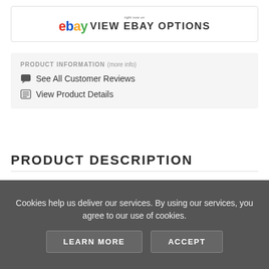[Figure (logo): eBay logo with 'right now on' text above and 'VIEW EBAY OPTIONS' button]
PRODUCT INFORMATION (more info)
See All Customer Reviews
View Product Details
PRODUCT DESCRIPTION
Hi Mr Dj Store are pleased to offer the famous LED Aurora Projector Night Light, MICTUNING Starry Sky Nebula Night Lamp Sky Galaxy Projector with Remote Voice Control.
Cookies help us deliver our services. By using our services, you agree to our use of cookies.
LEARN MORE   ACCEPT